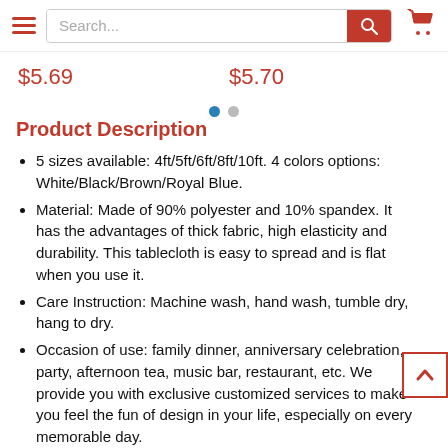[Figure (screenshot): Website navigation bar with hamburger menu, search box with red search button, and red shopping cart icon]
$5.69   $5.70
[Figure (other): Two pagination dots: one blue (active) and one grey]
Product Description
5 sizes available: 4ft/5ft/6ft/8ft/10ft. 4 colors options: White/Black/Brown/Royal Blue.
Material: Made of 90% polyester and 10% spandex. It has the advantages of thick fabric, high elasticity and durability. This tablecloth is easy to spread and is flat when you use it.
Care Instruction: Machine wash, hand wash, tumble dry, hang to dry.
Occasion of use: family dinner, anniversary celebration, party, afternoon tea, music bar, restaurant, etc. We provide you with exclusive customized services to make you feel the fun of design in your life, especially on every memorable day.
We adopt the custom process of heat transfer printing, and the maximum print area is 18" x 18" (45 x 45cm). High definition patterns and exquisite skills make your logo better